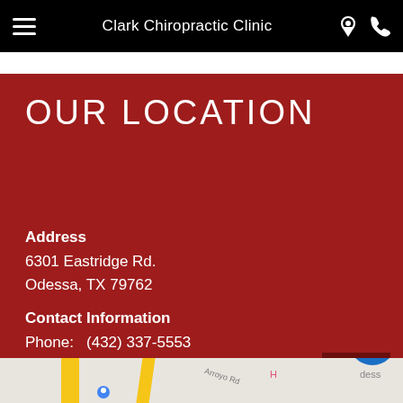Clark Chiropractic Clinic
OUR LOCATION
Address
6301 Eastridge Rd.
Odessa, TX 79762
Contact Information
Phone:   (432) 337-5553
Email:   clark.chiropractic337@gmail.com
[Figure (map): Partial Google Maps view showing streets near the clinic location with Arroyo Rd visible]